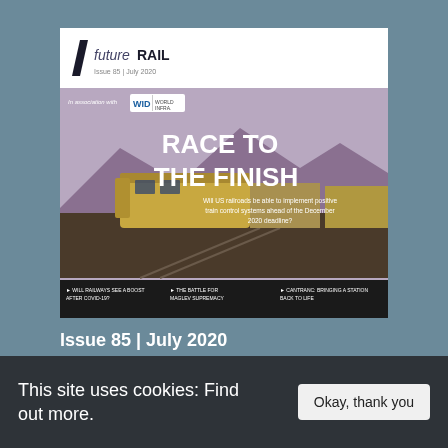[Figure (other): futureRAIL magazine cover, Issue 85, July 2020. Shows a train (locomotive) on tracks with mountains in the background. Large bold text reads 'RACE TO THE FINISH'. Subtitle: 'Will US railroads be able to implement positive train control systems ahead of the December 2020 deadline?'. In association with WID logo. Bottom bar with teasers: WILL RAILWAYS SEE A BOOST AFTER COVID-19?, THE BATTLE FOR MAGLEV SUPREMACY, CANTRANC: BRINGING A STATION BACK TO LIFE.]
Issue 85 | July 2020
In this issue: PTC implementation in
This site uses cookies: Find out more.
Okay, thank you